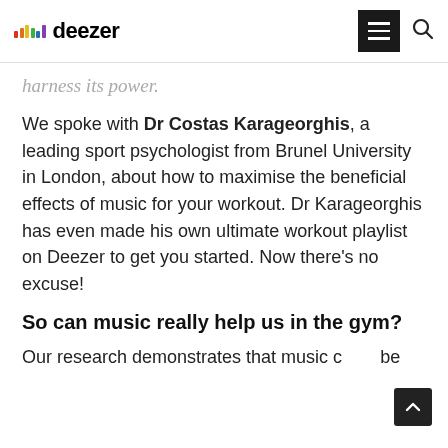deezer
harness its power.
We spoke with Dr Costas Karageorghis, a leading sport psychologist from Brunel University in London, about how to maximise the beneficial effects of music for your workout. Dr Karageorghis has even made his own ultimate workout playlist on Deezer to get you started. Now there's no excuse!
So can music really help us in the gym?
Our research demonstrates that music can be